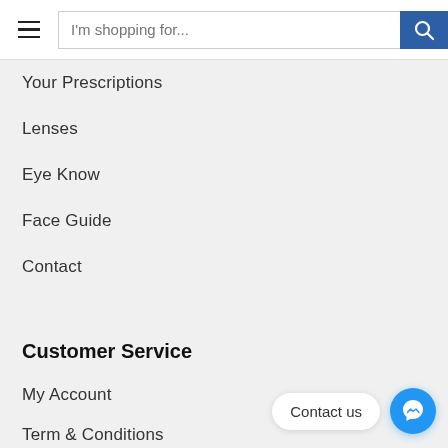[Figure (screenshot): Navigation header bar with hamburger menu icon, search input field placeholder text 'I'm shopping for...' and a blue search button with magnifying glass icon]
Your Prescriptions
Lenses
Eye Know
Face Guide
Contact
Customer Service
My Account
Term & Conditions
Privacy Policy
Delivery Policy
Refund & Returns Policy
Contact us